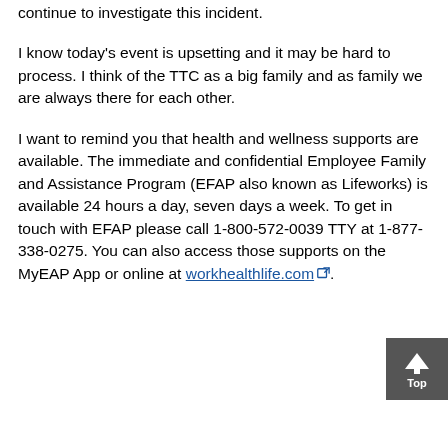continue to investigate this incident.
I know today's event is upsetting and it may be hard to process. I think of the TTC as a big family and as family we are always there for each other.
I want to remind you that health and wellness supports are available. The immediate and confidential Employee Family and Assistance Program (EFAP also known as Lifeworks) is available 24 hours a day, seven days a week. To get in touch with EFAP please call 1-800-572-0039 TTY at 1-877-338-0275. You can also access those supports on the MyEAP App or online at workhealthlife.com.